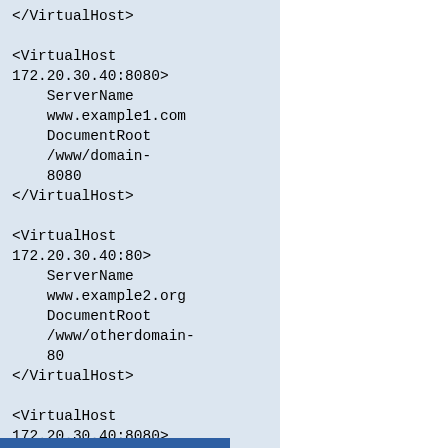</VirtualHost>

<VirtualHost 172.20.30.40:8080>
    ServerName
    www.example1.com
    DocumentRoot
    /www/domain-8080
</VirtualHost>

<VirtualHost 172.20.30.40:80>
    ServerName
    www.example2.org
    DocumentRoot
    /www/otherdomain-80
</VirtualHost>

<VirtualHost 172.20.30.40:8080>
    ServerName
    www.example2.org
    DocumentRoot
    /www/otherdomain-8080
</VirtualHost>